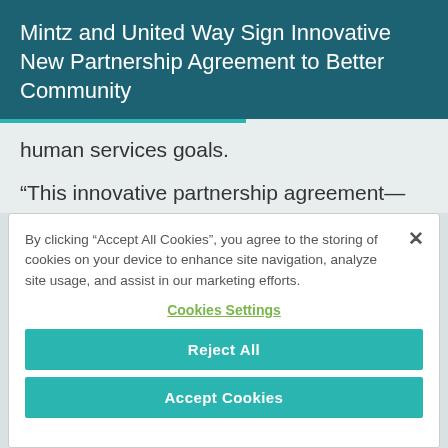Mintz and United Way Sign Innovative New Partnership Agreement to Better Community
human services goals.
“This innovative partnership agreement—the third in New England and among the first nationwide—
By clicking "Accept All Cookies", you agree to the storing of cookies on your device to enhance site navigation, analyze site usage, and assist in our marketing efforts.
Cookies Settings
Reject All
Accept Cookies